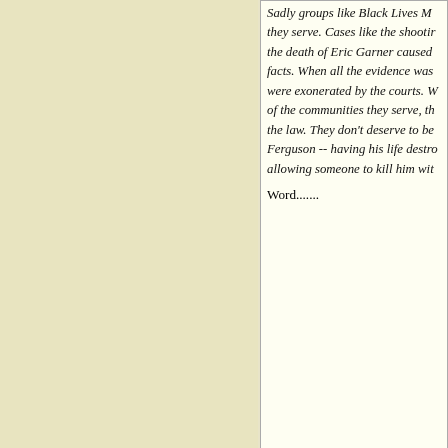Sadly groups like Black Lives M... they serve. Cases like the shooti... the death of Eric Garner caused ... facts. When all the evidence was... were exonerated by the courts. W... of the communities they serve, th... the law. They don't deserve to be... Ferguson -- having his life destro... allowing someone to kill him wit...
Word.......
[80] michale wrote:
Sadly groups like Black Lives Mo... they serve.
This bears repeating...
The Left makes lots and lots of n... police as a whole..
But no one has ever even MENT... Matter reflect on the Left as a wh... Russ...
While it would be eye opening fo... person in the ghetto, it would be...